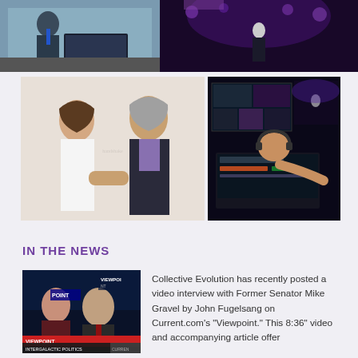[Figure (photo): Top strip: left photo showing person at laptop/tech setup with blue background; right photo showing person on stage with purple/dark lighting]
[Figure (photo): Middle strip: left photo of two men shaking hands and smiling indoors; right photo of person at video/broadcast control desk with monitors showing stage]
IN THE NEWS
[Figure (photo): TV screenshot of VIEWPOINT show on Current.com showing two men, labeled 'INTERGALACTIC POLITICS' at bottom]
Collective Evolution has recently posted a video interview with Former Senator Mike Gravel by John Fugelsang on Current.com's "Viewpoint." This 8:36" video and accompanying article offer